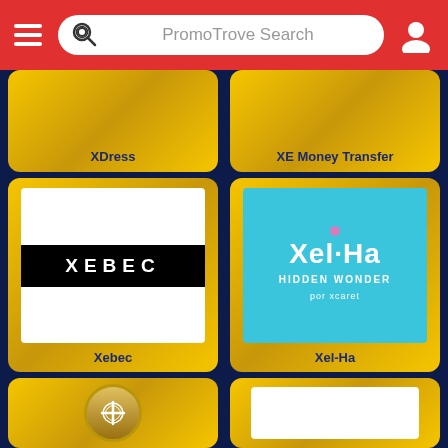[Figure (screenshot): PromoTrove app header with hamburger menu, search bar labeled 'PromoTrove Search', and user icon on red background]
[Figure (logo): XDress brand card (partially visible at top), gold card with label XDress]
[Figure (logo): XE Money Transfer brand card (partially visible at top), gold card with label XE Money Transfer]
[Figure (logo): Xebec brand card with black/white XEBEC logo on gold background, labeled Xebec]
[Figure (logo): Xel-Ha brand card with blue Xel-Ha Hidden Wonder por Xcaret logo on gold background, labeled Xel-Ha]
[Figure (logo): Partial brand card bottom-left with circular emblem logo]
[Figure (logo): Partial brand card bottom-right with white rectangle logo]